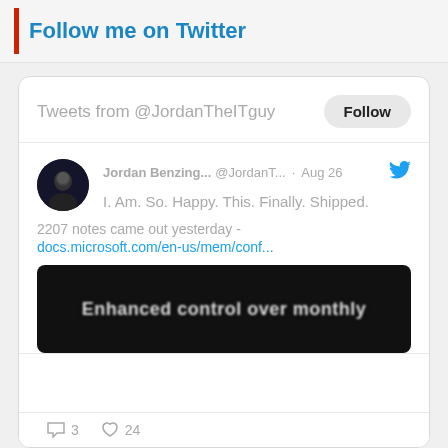Follow me on Twitter
[Figure (screenshot): Embedded Twitter widget showing tweets from @JordanTheITguy with a Follow button, a tweet by Jordan Benzing (@JordanT...) from Aug 26 saying 'I. Am. So. Happy. This. Finally. Shipped.' with a link to docs.microsoft.com/en-us/mem/conf... and an image preview showing 'Enhanced control over monthly']
Privacy & Cookies: This site uses cookies. By continuing to use this website, you agree to their use.
To find out more, including how to control cookies, see here: Cookie Policy
Close and accept
3   24